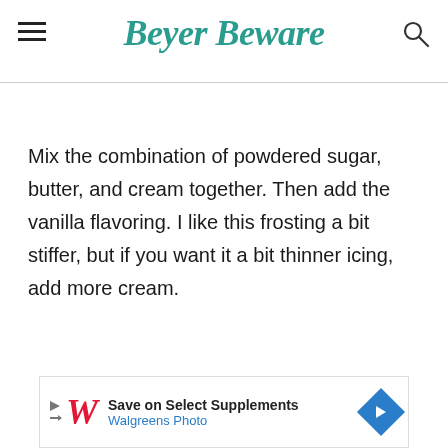Beyer Beware
Mix the combination of powdered sugar, butter, and cream together. Then add the vanilla flavoring. I like this frosting a bit stiffer, but if you want it a bit thinner icing, add more cream.
[Figure (other): Walgreens advertisement banner: 'Save on Select Supplements' / 'Walgreens Photo']